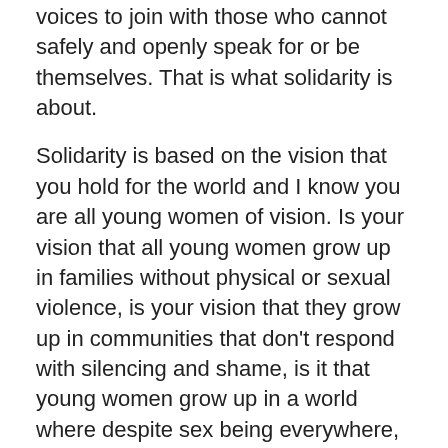voices to join with those who cannot safely and openly speak for or be themselves. That is what solidarity is about.
Solidarity is based on the vision that you hold for the world and I know you are all young women of vision. Is your vision that all young women grow up in families without physical or sexual violence, is your vision that they grow up in communities that don't respond with silencing and shame, is it that young women grow up in a world where despite sex being everywhere, they nonetheless cannot speak openly about it to parents, teachers, religious leaders and other adults without following a script that says they must be chaste...because where does that leave them if they are not? Is your vision that no medical practice – especially those only performed on girls and women, will ever take place in unsafe conditions? Is your